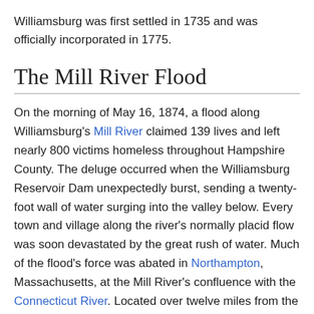Williamsburg was first settled in 1735 and was officially incorporated in 1775.
The Mill River Flood
On the morning of May 16, 1874, a flood along Williamsburg's Mill River claimed 139 lives and left nearly 800 victims homeless throughout Hampshire County. The deluge occurred when the Williamsburg Reservoir Dam unexpectedly burst, sending a twenty-foot wall of water surging into the valley below. Every town and village along the river's normally placid flow was soon devastated by the great rush of water. Much of the flood's force was abated in Northampton, Massachusetts, at the Mill River's confluence with the Connecticut River. Located over twelve miles from the breached dam in Williamsburg, Northampton was the last town to experience the flood's